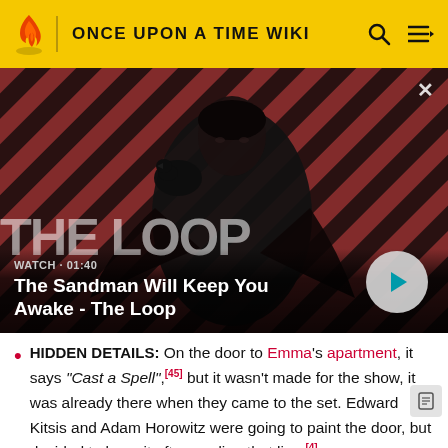ONCE UPON A TIME WIKI
[Figure (screenshot): Video thumbnail for 'The Sandman Will Keep You Awake - The Loop' showing a man in dark clothing with a raven on his shoulder, set against a red and dark diagonal striped background. Shows WATCH · 01:40 label and a play button.]
HIDDEN DETAILS: On the door to Emma's apartment, it says "Cast a Spell",[45] but it wasn't made for the show, it was already there when they came to the set. Edward Kitsis and Adam Horowitz were going to paint the door, but decided to keep it after reading that line.[4]